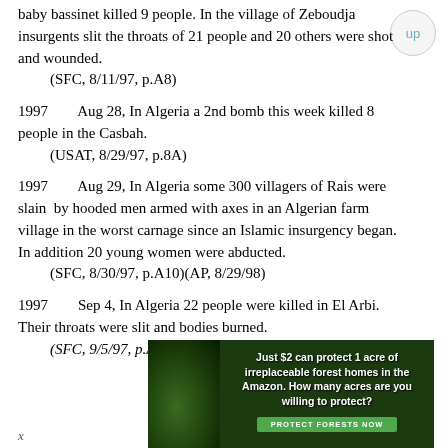baby bassinet killed 9 people. In the village of Zeboudja insurgents slit the throats of 21 people and 20 others were shot and wounded.
    (SFC, 8/11/97, p.A8)
1997        Aug 28, In Algeria a 2nd bomb this week killed 8 people in the Casbah.
    (USAT, 8/29/97, p.8A)
1997        Aug 29, In Algeria some 300 villagers of Rais were slain  by hooded men armed with axes in an Algerian farm village in the worst carnage since an Islamic insurgency began. In addition 20 young women were abducted.
    (SFC, 8/30/97, p.A10)(AP, 8/29/98)
1997        Sep 4, In Algeria 22 people were killed in El Arbi. Their throats were slit and bodies burned.
    (SFC, 9/5/97, p.A13)
[Figure (other): Advertisement banner: forest conservation ad reading 'Just $2 can protect 1 acre of irreplaceable forest homes in the Amazon. How many acres are you willing to protect?' with a 'PROTECT FORESTS NOW' green button]